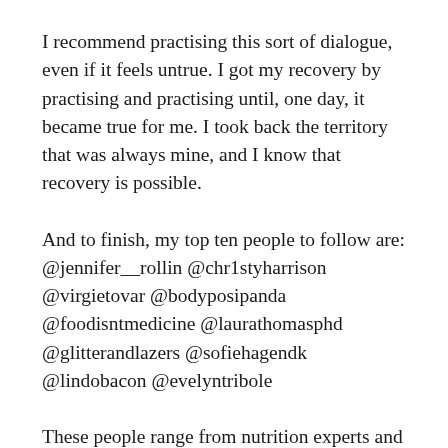I recommend practising this sort of dialogue, even if it feels untrue. I got my recovery by practising and practising until, one day, it became true for me. I took back the territory that was always mine, and I know that recovery is possible.
And to finish, my top ten people to follow are: @jennifer__rollin @chr1styharrison @virgietovar @bodyposipanda @foodisntmedicine @laurathomasphd @glitterandlazers @sofiehagendk @lindobacon @evelyntribole
These people range from nutrition experts and dietitians to weight science researchers and